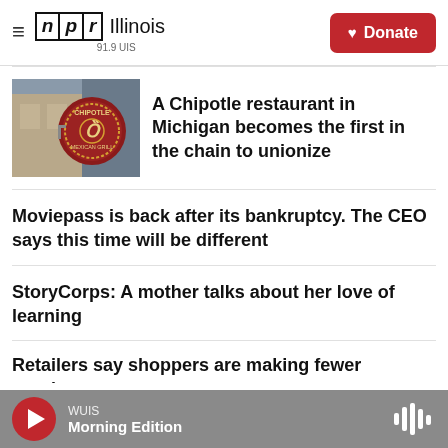NPR Illinois 91.9 UIS
[Figure (photo): Chipotle Mexican Grill restaurant sign/logo]
A Chipotle restaurant in Michigan becomes the first in the chain to unionize
Moviepass is back after its bankruptcy. The CEO says this time will be different
StoryCorps: A mother talks about her love of learning
Retailers say shoppers are making fewer purchases
WUIS Morning Edition